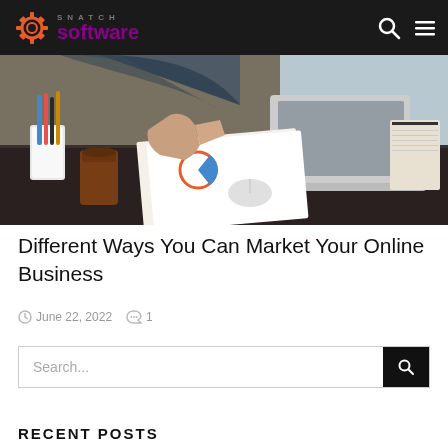SNATCH software
[Figure (photo): Person sitting at a dark desk, holding papers and working on a laptop, with pens and coffee cup visible]
Different Ways You Can Market Your Online Business
June 22, 2022  1
Search...
RECENT POSTS